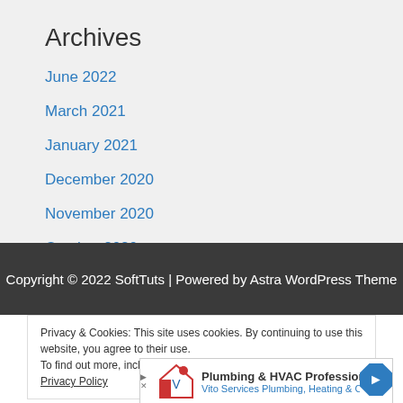Archives
June 2022
March 2021
January 2021
December 2020
November 2020
October 2020
Copyright © 2022 SoftTuts | Powered by Astra WordPress Theme
Privacy & Cookies: This site uses cookies. By continuing to use this website, you agree to their use. To find out more, including how to control cookies, see here: Privacy Policy
[Figure (infographic): Advertisement banner for Plumbing & HVAC Professionals - Vito Services Plumbing, Heating & C... with logo and blue diamond arrow icon]